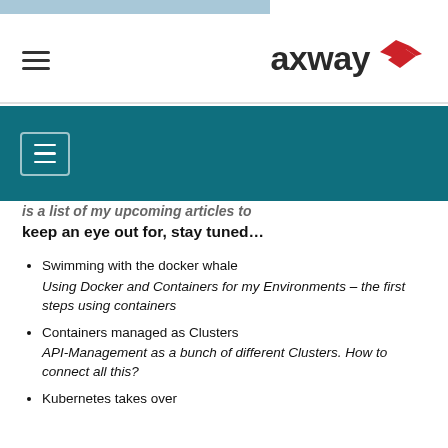axway [logo with navigation hamburger menu]
is a list of my upcoming articles to keep an eye out for, stay tuned…
Swimming with the docker whale Using Docker and Containers for my Environments – the first steps using containers
Containers managed as Clusters API-Management as a bunch of different Clusters. How to connect all this?
Kubernetes takes over